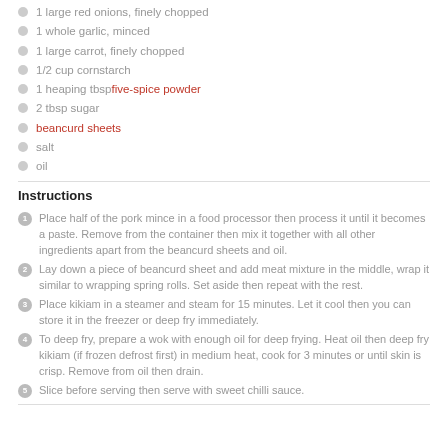1 large red onions, finely chopped
1 whole garlic, minced
1 large carrot, finely chopped
1/2 cup cornstarch
1 heaping tbsp five-spice powder
2 tbsp sugar
beancurd sheets
salt
oil
Instructions
Place half of the pork mince in a food processor then process it until it becomes a paste. Remove from the container then mix it together with all other ingredients apart from the beancurd sheets and oil.
Lay down a piece of beancurd sheet and add meat mixture in the middle, wrap it similar to wrapping spring rolls. Set aside then repeat with the rest.
Place kikiam in a steamer and steam for 15 minutes. Let it cool then you can store it in the freezer or deep fry immediately.
To deep fry, prepare a wok with enough oil for deep frying. Heat oil then deep fry kikiam (if frozen defrost first) in medium heat, cook for 3 minutes or until skin is crisp. Remove from oil then drain.
Slice before serving then serve with sweet chilli sauce.